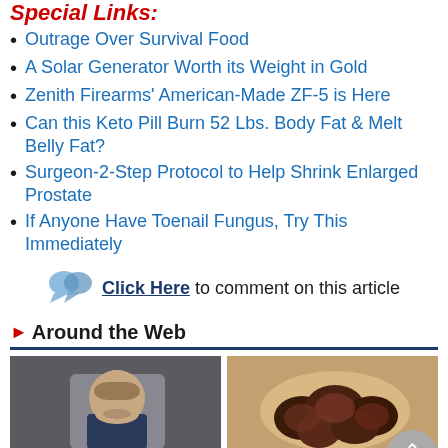Special Links:
Outrage Over Survival Food
A Solar Generator Worth its Weight in Gold
Zenith Firearms' American-Made ZF-5 is Here
Can this Keto Pill Burn 52 Lbs. Body Fat & Melt Belly Fat?
Surgeon-2-Step Protocol to Help Shrink Enlarged Prostate
If Anyone Have Toenail Fungus, Try This Immediately
Click Here to comment on this article
Around the Web
[Figure (photo): Photo of a woman in a dark jacket smiling against a grey background]
[Figure (photo): Photo of hands holding dark dates (fruit)]